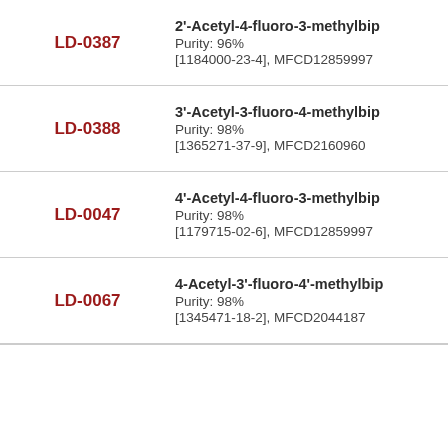LD-0387 | 2'-Acetyl-4-fluoro-3-methylbip... | Purity: 96% | [1184000-23-4], MFCD12859997
LD-0388 | 3'-Acetyl-3-fluoro-4-methylbip... | Purity: 98% | [1365271-37-9], MFCD21609606
LD-0047 | 4'-Acetyl-4-fluoro-3-methylbip... | Purity: 98% | [1179715-02-6], MFCD12859997
LD-0067 | 4-Acetyl-3'-fluoro-4'-methylbip... | Purity: 98% | [1345471-18-2], MFCD20441876